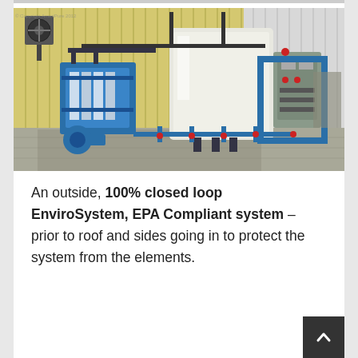[Figure (photo): An outdoor industrial water treatment system showing a 100% closed loop EnviroSystem with blue-framed filter press, large white storage tanks, piping, valves, and control panels on a concrete pad, situated outside a yellow corrugated metal building.]
An outside, 100% closed loop EnviroSystem, EPA Compliant system – prior to roof and sides going in to protect the system from the elements.